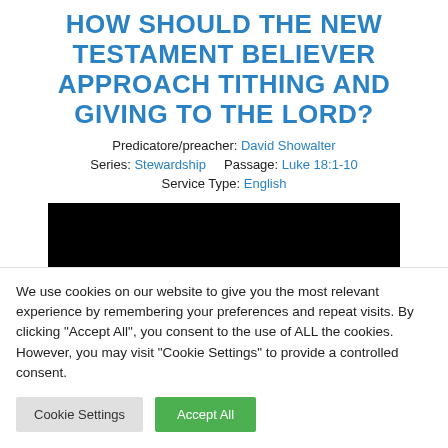HOW SHOULD THE NEW TESTAMENT BELIEVER APPROACH TITHING AND GIVING TO THE LORD?
Predicatore/preacher: David Showalter
Series: Stewardship     Passage: Luke 18:1-10
Service Type: English
[Figure (photo): Black video thumbnail/player area]
We use cookies on our website to give you the most relevant experience by remembering your preferences and repeat visits. By clicking "Accept All", you consent to the use of ALL the cookies. However, you may visit "Cookie Settings" to provide a controlled consent.